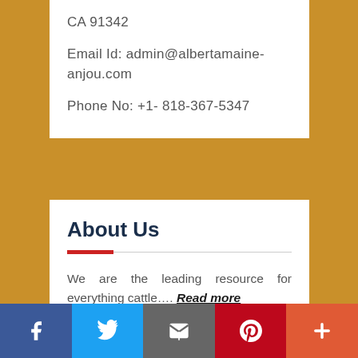CA 91342
Email Id: admin@albertamaine-anjou.com
Phone No: +1- 818-367-5347
About Us
We are the leading resource for everything cattle.... Read more